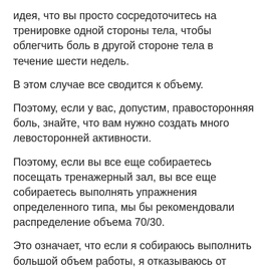идея, что вы просто сосредоточитесь на тренировке одной стороны тела, чтобы облегчить боль в другой стороне тела в течение шести недель.
В этом случае все сводится к объему.
Поэтому, если у вас, допустим, правосторонняя боль, знайте, что вам нужно создать много левосторонней активности.
Поэтому, если вы все еще собираетесь посещать тренажерный зал, вы все еще собираетесь выполнять упражнения определенного типа, мы бы рекомендовали распределение объема 70/30.
Это означает, что если я собираюсь выполнить большой объем работы, я отказываюсь от двусторонней работы.